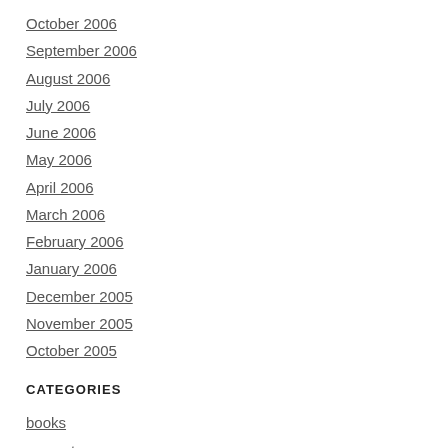October 2006
September 2006
August 2006
July 2006
June 2006
May 2006
April 2006
March 2006
February 2006
January 2006
December 2005
November 2005
October 2005
CATEGORIES
books
computers